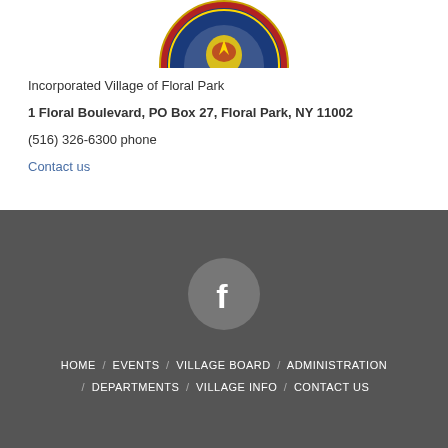[Figure (illustration): Incorporated Village of Floral Park circular seal/logo, partially cropped at top, showing 1908 text and decorative elements]
Incorporated Village of Floral Park
1 Floral Boulevard, PO Box 27, Floral Park, NY 11002
(516) 326-6300 phone
Contact us
[Figure (logo): Facebook icon (f logo) inside a grey circle]
HOME / EVENTS / VILLAGE BOARD / ADMINISTRATION / DEPARTMENTS / VILLAGE INFO / CONTACT US